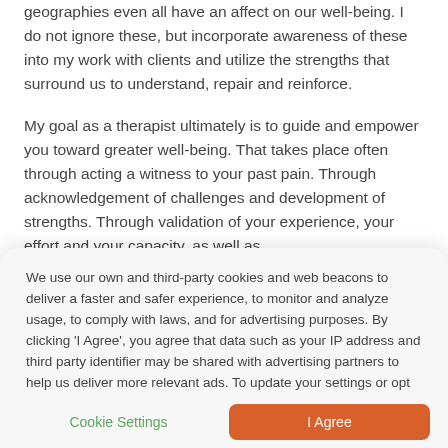geographies even all have an affect on our well-being. I do not ignore these, but incorporate awareness of these into my work with clients and utilize the strengths that surround us to understand, repair and reinforce.
My goal as a therapist ultimately is to guide and empower you toward greater well-being. That takes place often through acting a witness to your past pain. Through acknowledgement of challenges and development of strengths. Through validation of your experience, your effort and your capacity, as well as
We use our own and third-party cookies and web beacons to deliver a faster and safer experience, to monitor and analyze usage, to comply with laws, and for advertising purposes. By clicking 'I Agree', you agree that data such as your IP address and third party identifier may be shared with advertising partners to help us deliver more relevant ads. To update your settings or opt out, go to 'Cookie Settings'. To learn more read our Privacy Policy.
Cookie Settings
I Agree